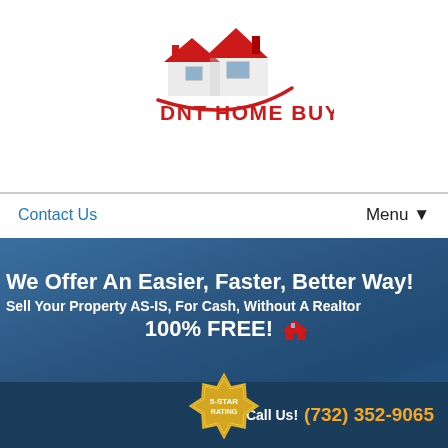[Figure (logo): DNT Home Buyers logo with red house icon and swoosh]
Contact Us
Menu ▼
We Offer An Easier, Faster, Better Way!
Sell Your Property AS-IS, For Cash, Without A Realtor
100% FREE!
Sell Your House In Bound Brook Without A Realtor!
Call Us! (732) 352-9065
[Figure (illustration): Gold 5-star rating badge]